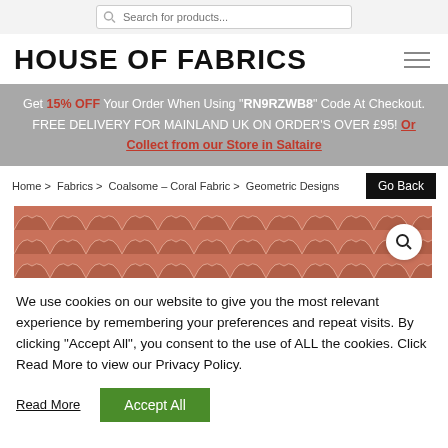Search for products...
HOUSE OF FABRICS
Get 15% OFF Your Order When Using "RN9RZWB8" Code At Checkout. FREE DELIVERY FOR MAINLAND UK ON ORDER'S OVER £95! Or Collect from our Store in Saltaire
Home > Fabrics > Coalsome – Coral Fabric > Geometric Designs
[Figure (photo): Coral fabric with geometric fish-scale / scallop pattern in pink-terracotta tones with a magnifying glass zoom button overlay]
We use cookies on our website to give you the most relevant experience by remembering your preferences and repeat visits. By clicking "Accept All", you consent to the use of ALL the cookies. Click Read More to view our Privacy Policy.
Read More
Accept All